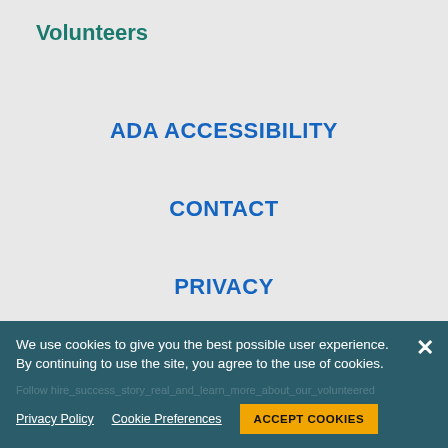Volunteers
ADA ACCESSIBILITY
CONTACT
PRIVACY
DO NOT SELL MY PERSONAL INFORMATION
[Figure (illustration): Row of social media icons: LinkedIn (blue), YouTube (red), Facebook (dark blue), Twitter (light blue), Glassdoor (green), Instagram (dark grey)]
We use cookies to give you the best possible user experience. By continuing to use the site, you agree to the use of cookies.
Privacy Policy   Cookie Preferences   ACCEPT COOKIES